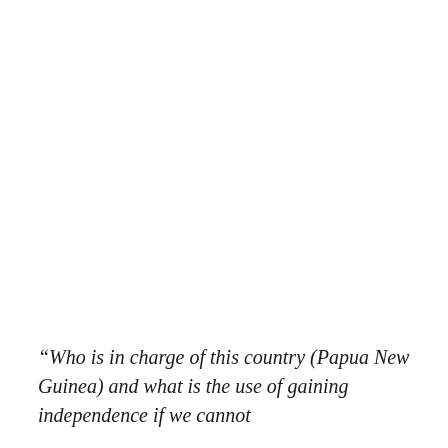“Who is in charge of this country (Papua New Guinea) and what is the use of gaining independence if we cannot